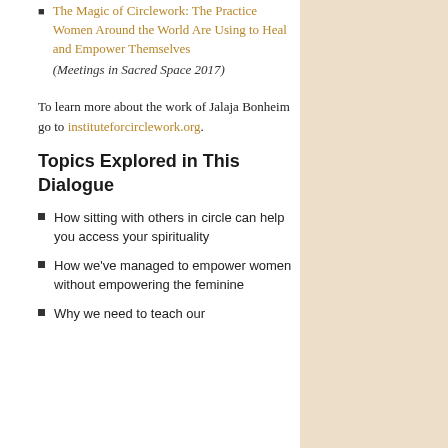The Magic of Circlework: The Practice Women Around the World Are Using to Heal and Empower Themselves (Meetings in Sacred Space 2017)
To learn more about the work of Jalaja Bonheim go to instituteforcirclework.org.
Topics Explored in This Dialogue
How sitting with others in circle can help you access your spirituality
How we've managed to empower women without empowering the feminine
Why we need to teach our